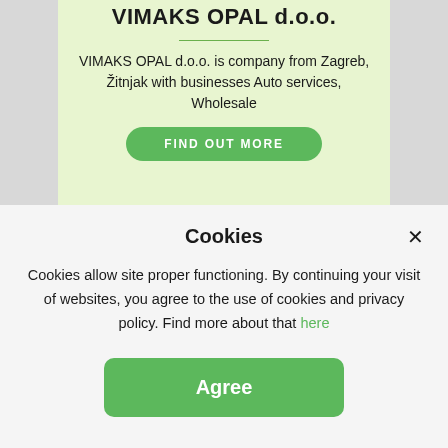VIMAKS OPAL d.o.o.
VIMAKS OPAL d.o.o. is company from Zagreb, Žitnjak with businesses Auto services, Wholesale
FIND OUT MORE
Cookies
Cookies allow site proper functioning. By continuing your visit of websites, you agree to the use of cookies and privacy policy. Find more about that here
Agree